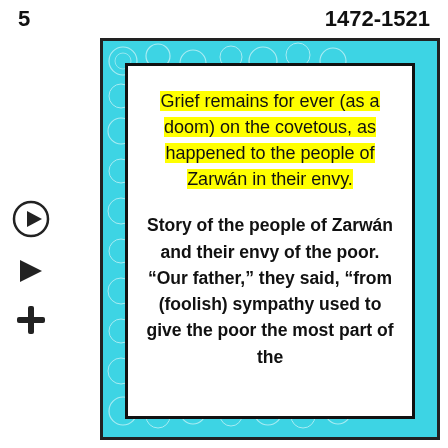5    1472-1521
Grief remains for ever (as a doom) on the covetous, as happened to the people of Zarwán in their envy.
Story of the people of Zarwán and their envy of the poor. “Our father,” they said, “from (foolish) sympathy used to give the poor the most part of the